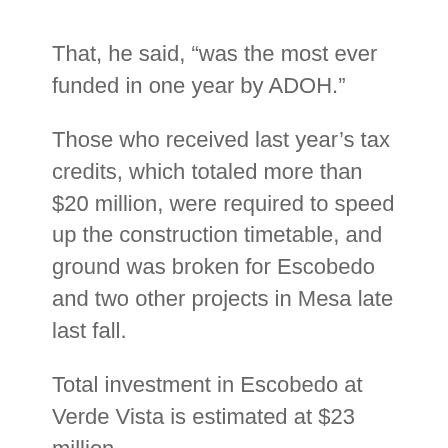That, he said, “was the most ever funded in one year by ADOH.”
Those who received last year’s tax credits, which totaled more than $20 million, were required to speed up the construction timetable, and ground was broken for Escobedo and two other projects in Mesa late last fall.
Total investment in Escobedo at Verde Vista is estimated at $23 million.
It is being built under the auspices of the Save the Family Foundation, a Mesa charity created in 1988 to serve homeless families [external link]